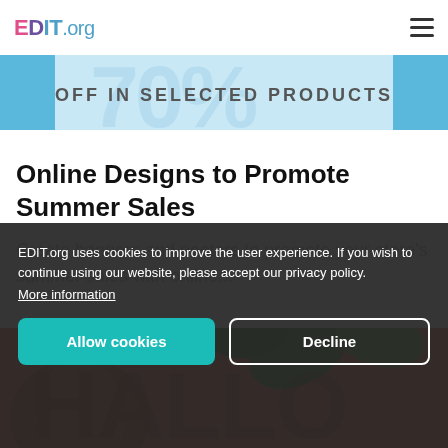EDIT.org
[Figure (illustration): Blue banner image with text 'OFF IN SELECTED PRODUCTS' and decorative blue elements on sides]
Online Designs to Promote Summer Sales
Create banners and posters to promote your store's summer sales with online...
[Figure (illustration): Orange autumn/harvest themed illustration with pumpkins and leaves, partially visible. Overlapping text visible in background.]
EDIT.org uses cookies to improve the user experience. If you wish to continue using our website, please accept our privacy policy. More information